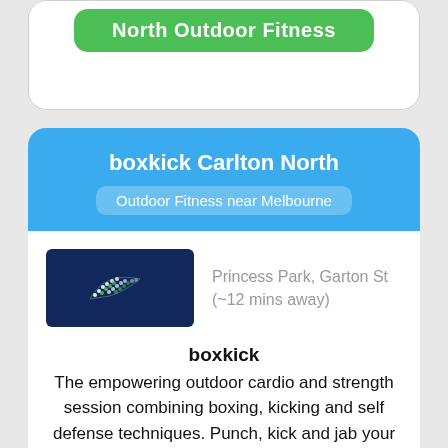[Figure (logo): Green button partially visible at top of page with bold white text 'North Outdoor Fitness']
boxkick Carlton North
Outdoor Fitness near Melbourne
[Figure (logo): Boxkick logo — dark navy blue rectangle with white/green dotted leaf/wing design]
Princess Park, Garton St (~12 mins away)
boxkick
The empowering outdoor cardio and strength session combining boxing, kicking and self defense techniques. Punch, kick and jab your way through a fun and highly motivating session that will calorie burn, build strength and leave you with a healthy sense of achievement... no